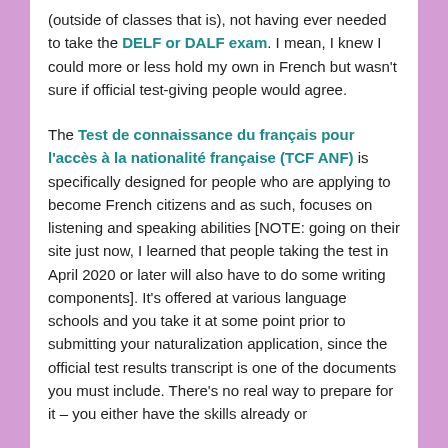(outside of classes that is), not having ever needed to take the DELF or DALF exam. I mean, I knew I could more or less hold my own in French but wasn't sure if official test-giving people would agree.
The Test de connaissance du français pour l'accès à la nationalité française (TCF ANF) is specifically designed for people who are applying to become French citizens and as such, focuses on listening and speaking abilities [NOTE: going on their site just now, I learned that people taking the test in April 2020 or later will also have to do some writing components]. It's offered at various language schools and you take it at some point prior to submitting your naturalization application, since the official test results transcript is one of the documents you must include. There's no real way to prepare for it – you either have the skills already or